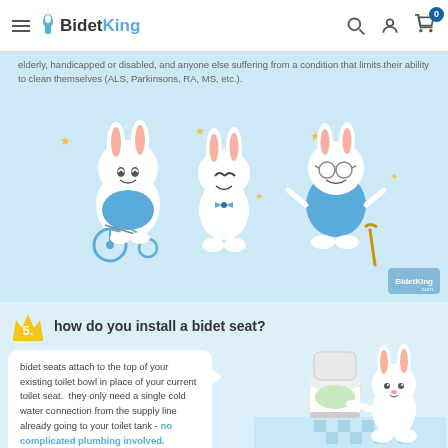BidetKing — navigation header with hamburger menu, search, account, and cart icons
elderly, handicapped or disabled, and anyone else suffering from a condition that limits their ability to clean themselves (ALS, Parkinsons, RA, MS, etc.).
[Figure (illustration): Three cartoon bunny characters: one in a wheelchair, one small bunny standing, one elderly bunny with glasses and a cane, with gold stars around them, on a light blue background]
5. how do you install a bidet seat?
bidet seats attach to the top of your existing toilet bowl in place of your current toilet seat. they only need a single cold water connection from the supply line already going to your toilet tank - no complicated plumbing involved.
[Figure (illustration): Cartoon bunny character installing a bidet seat on a toilet, with a checkered floor background]